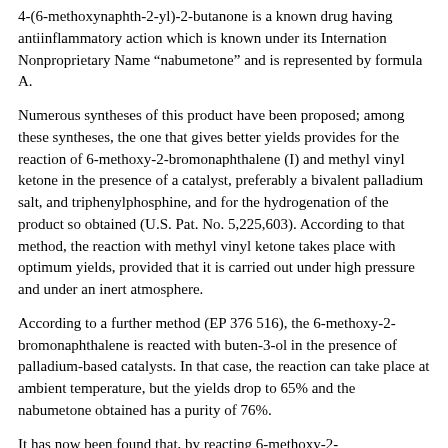4-(6-methoxynaphth-2-yl)-2-butanone is a known drug having antiinflammatory action which is known under its Internation Nonproprietary Name "nabumetone" and is represented by formula A.
Numerous syntheses of this product have been proposed; among these syntheses, the one that gives better yields provides for the reaction of 6-methoxy-2-bromonaphthalene (I) and methyl vinyl ketone in the presence of a catalyst, preferably a bivalent palladium salt, and triphenylphosphine, and for the hydrogenation of the product so obtained (U.S. Pat. No. 5,225,603). According to that method, the reaction with methyl vinyl ketone takes place with optimum yields, provided that it is carried out under high pressure and under an inert atmosphere.
According to a further method (EP 376 516), the 6-methoxy-2-bromonaphthalene is reacted with buten-3-ol in the presence of palladium-based catalysts. In that case, the reaction can take place at ambient temperature, but the yields drop to 65% and the nabumetone obtained has a purity of 76%.
It has now been found that, by reacting 6-methoxy-2-bromonaphthalene with 3-ethylenedioxybutene (II) in the presence of a bivalent palladium salt and a phosphine, the reaction takes place extremely rapidly without operating under pressure and the